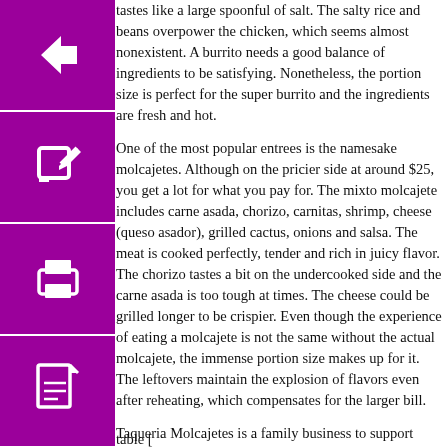[Figure (other): Purple square icon with white left arrow (back navigation button)]
[Figure (other): Purple square icon with white edit/pencil symbol]
[Figure (other): Purple square icon with white printer symbol]
[Figure (other): Purple square icon with white PDF/document symbol]
tastes like a large spoonful of salt. The salty rice and beans overpower the chicken, which seems almost nonexistent. A burrito needs a good balance of ingredients to be satisfying. Nonetheless, the portion size is perfect for the super burrito and the ingredients are fresh and hot.
One of the most popular entrees is the namesake molcajetes. Although on the pricier side at around $25, you get a lot for what you pay for. The mixto molcajete includes carne asada, chorizo, carnitas, shrimp, cheese (queso asador), grilled cactus, onions and salsa. The meat is cooked perfectly, tender and rich in juicy flavor. The chorizo tastes a bit on the undercooked side and the carne asada is too tough at times. The cheese could be grilled longer to be crispier. Even though the experience of eating a molcajete is not the same without the actual molcajete, the immense portion size makes up for it. The leftovers maintain the explosion of flavors even after reheating, which compensates for the larger bill.
Taqueria Molcajetes is a family business to support during a pandemic because they will support you too with their comfort flavors of Mexico, especially if you order the mixed molcajetes.
table [